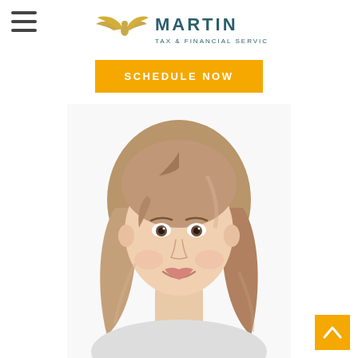[Figure (logo): Martin Tax & Financial Services logo with golden wing/eagle emblem and teal text]
SCHEDULE NOW
[Figure (photo): Headshot photo of a smiling woman with medium-length blonde/brown hair against a white background]